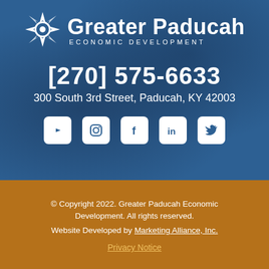[Figure (logo): Greater Paducah Economic Development logo with compass rose icon and text]
[270] 575-6633
300 South 3rd Street, Paducah, KY 42003
[Figure (infographic): Social media icons row: YouTube, Instagram, Facebook, LinkedIn, Twitter]
© Copyright 2022. Greater Paducah Economic Development. All rights reserved. Website Developed by Marketing Alliance, Inc.
Privacy Notice